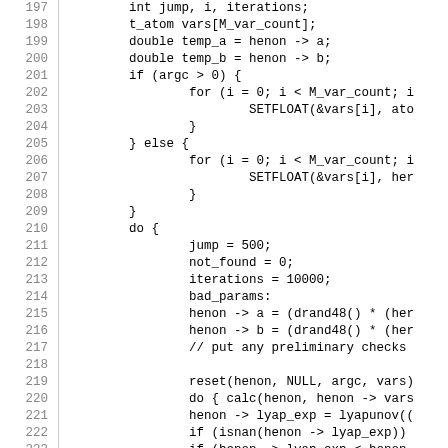[Figure (other): Source code listing lines 197-226 in monospace font with line numbers on the left side separated by a vertical line, showing C code for a Henon map simulation with variable initialization, conditional parameter setting, do-while loop, and Lyapunov exponent calculation.]